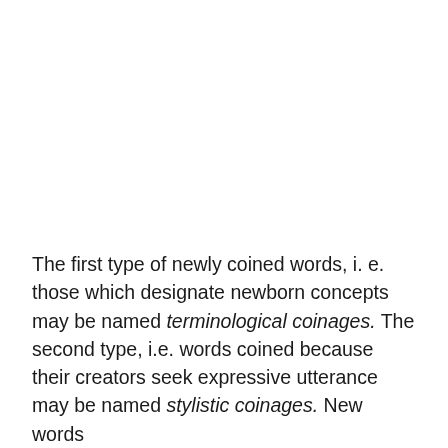The first type of newly coined words, i. e. those which designate newborn concepts may be named terminological coinages. The second type, i.e. words coined because their creators seek expressive utterance may be named stylistic coinages. New words